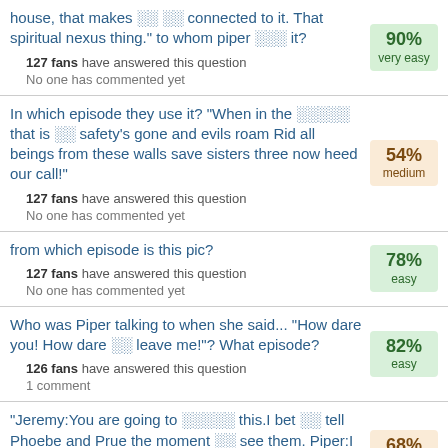house, that makes ░░ ░░ connected to it. That spiritual nexus thing." to whom piper ░░░ it? | 127 fans have answered this question | No one has commented yet | 90% very easy
In which episode they use it? "When in the ░░░░░ that is ░░ safety's gone and evils roam Rid all beings from these walls save sisters three now heed our call!" | 127 fans have answered this question | No one has commented yet | 54% medium
from which episode is this pic? | 127 fans have answered this question | No one has commented yet | 78% easy
Who was Piper talking to when she said... "How dare you! How dare ░░ leave me!"? What episode? | 126 fans have answered this question | 1 comment | 82% easy
"Jeremy:You are going to ░░░░░ this.I bet ░░ tell Phoebe and Prue the moment ░░ see them. Piper:I never mentioned Phoebe came home. what Jeremy replied? | 68% medium